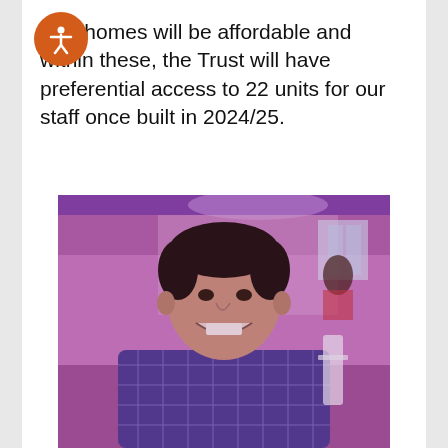new homes will be affordable and within these, the Trust will have preferential access to 22 units for our staff once built in 2024/25.
[Figure (photo): A smiling man in a checked purple shirt photographed at an event with purple/pink lighting, seated at a table with other guests visible in the background.]